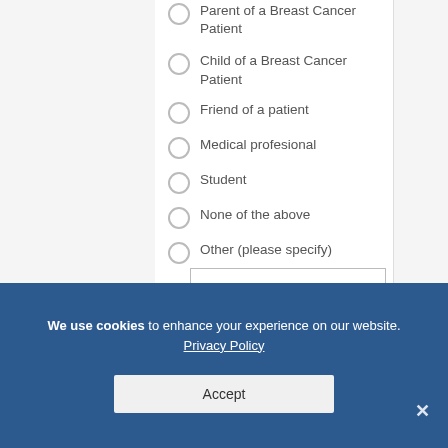Parent of a Breast Cancer Patient
Child of a Breast Cancer Patient
Friend of a patient
Medical profesional
Student
None of the above
Other (please specify)
We use cookies to enhance your experience on our website. Privacy Policy
Accept